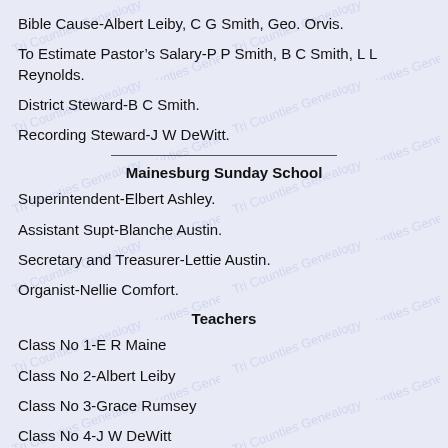Bible Cause-Albert Leiby, C G Smith, Geo. Orvis.
To Estimate Pastor's Salary-P P Smith, B C Smith, L L Reynolds.
District Steward-B C Smith.
Recording Steward-J W DeWitt.
Mainesburg Sunday School
Superintendent-Elbert Ashley.
Assistant Supt-Blanche Austin.
Secretary and Treasurer-Lettie Austin.
Organist-Nellie Comfort.
Teachers
Class No 1-E R Maine
Class No 2-Albert Leiby
Class No 3-Grace Rumsey
Class No 4-J W DeWitt